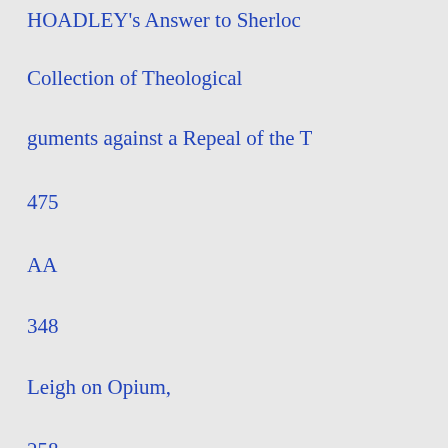HOADLEY's Answer to Sherlock
Collection of Theological
guments against a Repeal of the T
475
AA
348
Leigh on Opium,
258
6
LETTER
e
or
97
K'
454
441